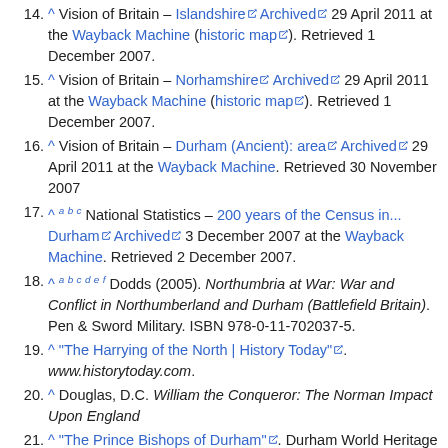14. ^ Vision of Britain – Islandshire [archived] 29 April 2011 at the Wayback Machine (historic map). Retrieved 1 December 2007.
15. ^ Vision of Britain – Norhamshire [archived] 29 April 2011 at the Wayback Machine (historic map). Retrieved 1 December 2007.
16. ^ Vision of Britain – Durham (Ancient): area [archived] 29 April 2011 at the Wayback Machine. Retrieved 30 November 2007
17. ^ a b c National Statistics – 200 years of the Census in... Durham [archived] 3 December 2007 at the Wayback Machine. Retrieved 2 December 2007.
18. ^ a b c d e f Dodds (2005). Northumbria at War: War and Conflict in Northumberland and Durham (Battlefield Britain). Pen & Sword Military. ISBN 978-0-11-702037-5.
19. ^ "The Harrying of the North | History Today". www.historytoday.com.
20. ^ Douglas, D.C. William the Conqueror: The Norman Impact Upon England
21. ^ "The Prince Bishops of Durham". Durham World Heritage Site. 11 July 2011. Retrieved 5 November 2019.
22. ^ Drummond Liddy, Christian (2008). The Bishopric of Durham in the Late Middle Ages. Boydell. p. 1. ISBN 978-1843832772.